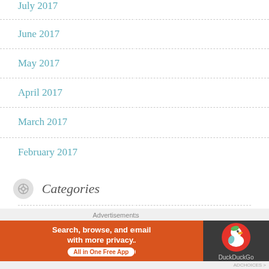July 2017
June 2017
May 2017
April 2017
March 2017
February 2017
Categories
4 Star (368)
[Figure (infographic): DuckDuckGo advertisement banner: orange section with text 'Search, browse, and email with more privacy. All in One Free App' and dark section with DuckDuckGo logo]
Advertisements